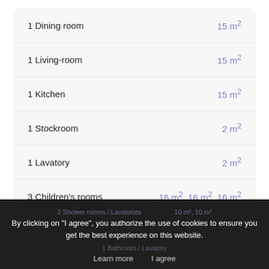1 Dining room — 15 m²
1 Living-room — 15 m²
1 Kitchen — 15 m²
1 Stockroom — 2 m²
1 Lavatory — 2 m²
3 Children's rooms — 16 m², 16 m², 16 m²
2 Shower rooms / Lavatories
By clicking on "I agree", you authorize the use of cookies to ensure you get the best experience on this website.
1 Bathroom / Lavatory
Learn more    I agree